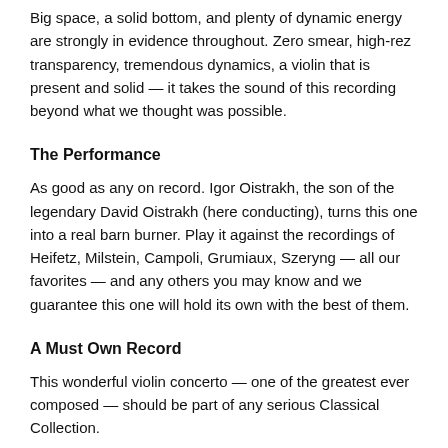Big space, a solid bottom, and plenty of dynamic energy are strongly in evidence throughout. Zero smear, high-rez transparency, tremendous dynamics, a violin that is present and solid — it takes the sound of this recording beyond what we thought was possible.
The Performance
As good as any on record. Igor Oistrakh, the son of the legendary David Oistrakh (here conducting), turns this one into a real barn burner. Play it against the recordings of Heifetz, Milstein, Campoli, Grumiaux, Szeryng — all our favorites — and any others you may know and we guarantee this one will hold its own with the best of them.
A Must Own Record
This wonderful violin concerto — one of the greatest ever composed — should be part of any serious Classical Collection.
Others that belong in that category can be found here.